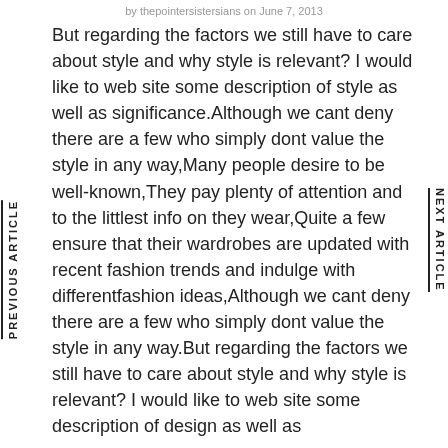by thepointersistersians on June 7, 2013
But regarding the factors we still have to care about style and why style is relevant? I would like to web site some description of style as well as significance.Although we cant deny there are a few who simply dont value the style in any way,Many people desire to be well-known,They pay plenty of attention and to the littlest info on they wear,Quite a few ensure that their wardrobes are updated with recent fashion trends and indulge with differentfashion ideas,Although we cant deny there are a few who simply dont value the style in any way.But regarding the factors we still have to care about style and why style is relevant? I would like to web site some description of design as well as